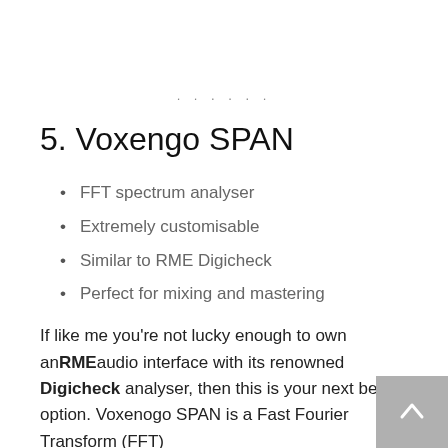......
5. Voxengo SPAN
FFT spectrum analyser
Extremely customisable
Similar to RME Digicheck
Perfect for mixing and mastering
If like me you're not lucky enough to own an RME audio interface with its renowned Digicheck analyser, then this is your next best option. Voxenogo SPAN is a Fast Fourier Transform (FFT)